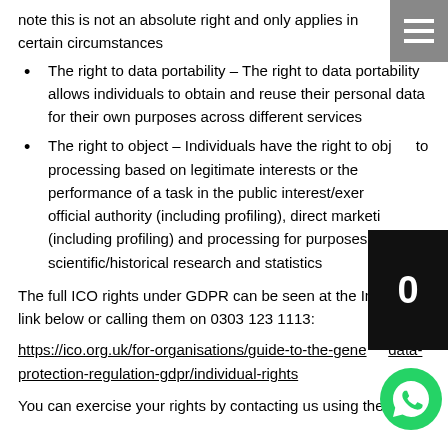note this is not an absolute right and only applies in certain circumstances
The right to data portability – The right to data portability allows individuals to obtain and reuse their personal data for their own purposes across different services
The right to object – Individuals have the right to object to processing based on legitimate interests or the performance of a task in the public interest/exercise of official authority (including profiling), direct marketing (including profiling) and processing for purposes of scientific/historical research and statistics
The full ICO rights under GDPR can be seen at the Internet link below or calling them on 0303 123 1113:
https://ico.org.uk/for-organisations/guide-to-the-general-data-protection-regulation-gdpr/individual-rights
You can exercise your rights by contacting us using the